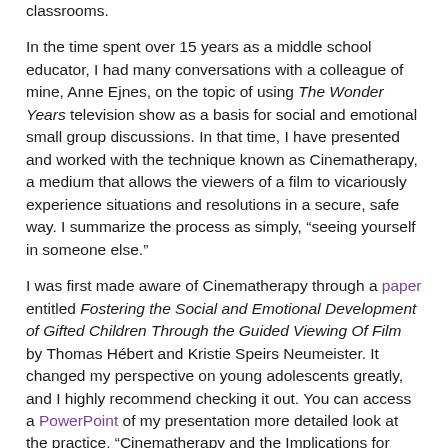classrooms.
In the time spent over 15 years as a middle school educator, I had many conversations with a colleague of mine, Anne Ejnes, on the topic of using The Wonder Years television show as a basis for social and emotional small group discussions. In that time, I have presented and worked with the technique known as Cinematherapy, a medium that allows the viewers of a film to vicariously experience situations and resolutions in a secure, safe way.  I summarize the process as simply, “seeing yourself in someone else.”
I was first made aware of Cinematherapy through a paper entitled Fostering the Social and Emotional Development of Gifted Children Through the Guided Viewing Of Film by Thomas Hébert and Kristie Speirs Neumeister. It changed my perspective on young adolescents greatly, and I highly recommend checking it out. You can access a PowerPoint of my presentation more detailed look at the practice, “Cinematherapy and the Implications for Social and Emotional Development,” which focuses on the use of two young-adult films, Stand By Me and Explorers.
Until recently, The Wonder Years was not available on DVD, Video